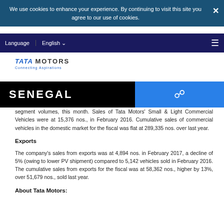We use cookies to enhance your experience. By continuing to visit this site you agree to our use of cookies.
Language  English
[Figure (logo): Tata Motors - Connecting Aspirations logo]
SENEGAL
segment volumes, this month. Sales of Tata Motors' Small & Light Commercial Vehicles were at 15,376 nos., in February 2016. Cumulative sales of commercial vehicles in the domestic market for the fiscal was flat at 289,335 nos. over last year.
Exports
The company's sales from exports was at 4,894 nos. in February 2017, a decline of 5% (owing to lower PV shipment) compared to 5,142 vehicles sold in February 2016. The cumulative sales from exports for the fiscal was at 58,362 nos., higher by 13%, over 51,679 nos., sold last year.
About Tata Motors: